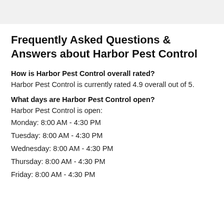Frequently Asked Questions & Answers about Harbor Pest Control
How is Harbor Pest Control overall rated?
Harbor Pest Control is currently rated 4.9 overall out of 5.
What days are Harbor Pest Control open?
Harbor Pest Control is open:
Monday: 8:00 AM - 4:30 PM
Tuesday: 8:00 AM - 4:30 PM
Wednesday: 8:00 AM - 4:30 PM
Thursday: 8:00 AM - 4:30 PM
Friday: 8:00 AM - 4:30 PM